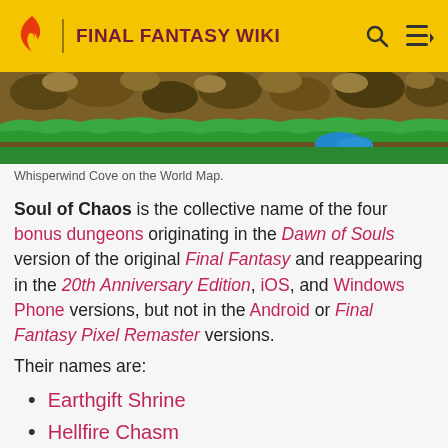FINAL FANTASY WIKI
[Figure (screenshot): Whisperwind Cove area on the World Map from Final Fantasy — a pixel art landscape showing rocky terrain, green grass, and blue water]
Whisperwind Cove on the World Map.
Soul of Chaos is the collective name of the four bonus dungeons originating in the Dawn of Souls version of the original Final Fantasy and reappearing in the 20th Anniversary Edition, iOS, and Windows Phone versions, but not in the Android or Final Fantasy Pixel Remaster versions.
Their names are:
Earthgift Shrine
Hellfire Chasm
Lifespring Grotto